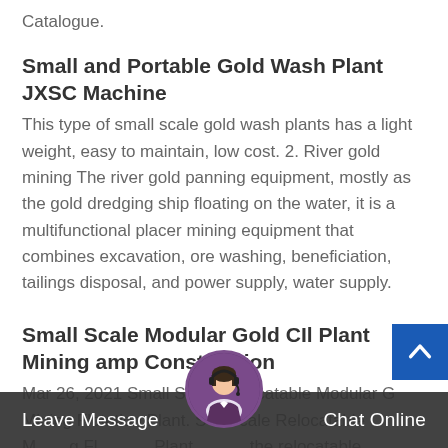Catalogue.
Small and Portable Gold Wash Plant JXSC Machine
This type of small scale gold wash plants has a light weight, easy to maintain, low cost. 2. River gold mining The river gold panning equipment, mostly as the gold dredging ship floating on the water, it is a multifunctional placer mining equipment that combines excavation, ore washing, beneficiation, tailings disposal, and power supply, water supply.
Small Scale Modular Gold CIl Plant Mining amp Construction
Mar 26, 2021 Small Scale Relocatable Modular G Mining Flotation Plant. S cale Relocatable M g Fl Plant the relocatable modular flotation plant…